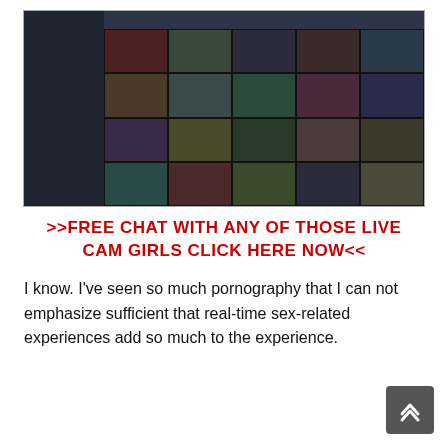[Figure (screenshot): Screenshot of an adult live cam website showing a grid of thumbnails of webcam performers with a left sidebar navigation]
>>FREE CHAT WITH ANY OF THOSE LIVE CAM GIRLS CLICK HERE NOW<<
I know. I've seen so much pornography that I can not emphasize sufficient that real-time sex-related experiences add so much to the experience.